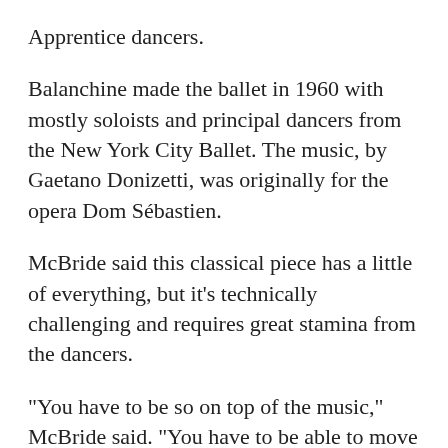Apprentice dancers.
Balanchine made the ballet in 1960 with mostly soloists and principal dancers from the New York City Ballet. The music, by Gaetano Donizetti, was originally for the opera Dom Sébastien.
McBride said this classical piece has a little of everything, but it's technically challenging and requires great stamina from the dancers.
“You have to be so on top of the music,” McBride said. “You have to be able to move from one movement to the next with lots of energy and musicality.”